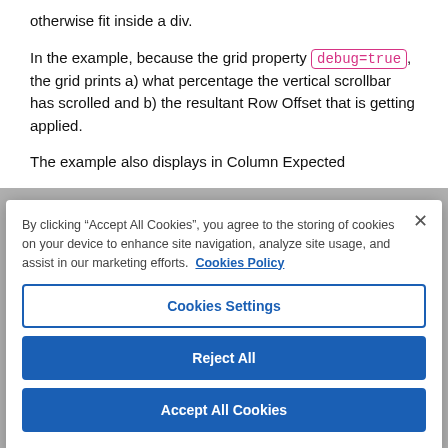otherwise fit inside a div.
In the example, because the grid property debug=true, the grid prints a) what percentage the vertical scrollbar has scrolled and b) the resultant Row Offset that is getting applied.
The example also displays in Column Expected
By clicking "Accept All Cookies", you agree to the storing of cookies on your device to enhance site navigation, analyze site usage, and assist in our marketing efforts.  Cookies Policy
Cookies Settings
Reject All
Accept All Cookies